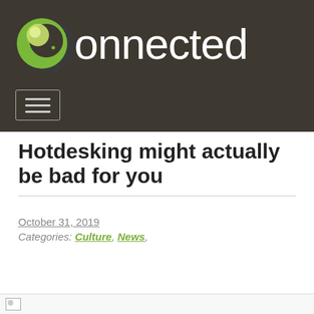[Figure (logo): Connected magazine logo: green circle with white inner circle on dark brown/grey background, followed by 'connected' text in white]
Hotdesking might actually be bad for you
October 31, 2019
Categories: Culture, News,
[Figure (photo): Broken/loading image placeholder at bottom of page]